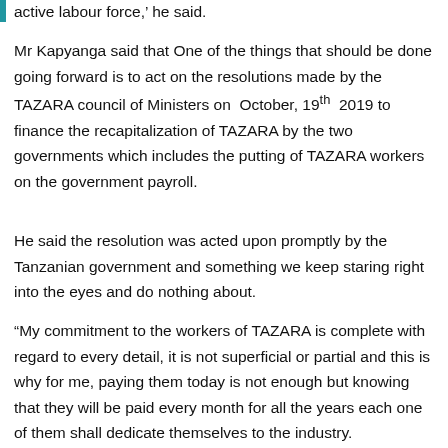active labour force,' he said.
Mr Kapyanga said that One of the things that should be done going forward is to act on the resolutions made by the TAZARA council of Ministers on October, 19th 2019 to finance the recapitalization of TAZARA by the two governments which includes the putting of TAZARA workers on the government payroll.
He said the resolution was acted upon promptly by the Tanzanian government and something we keep staring right into the eyes and do nothing about.
“My commitment to the workers of TAZARA is complete with regard to every detail, it is not superficial or partial and this is why for me, paying them today is not enough but knowing that they will be paid every month for all the years each one of them shall dedicate themselves to the industry.